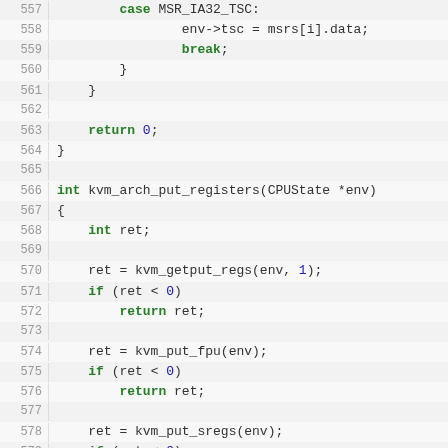[Figure (screenshot): Source code listing in C showing lines 557-583 of a KVM architecture file. The code shows a switch-case for MSR_IA32_TSC, a closing brace block, a return 0 statement, and the function kvm_arch_put_registers(CPUState *env) with several calls: kvm_getput_regs, kvm_put_fpu, kvm_put_sregs, and kvm_put_msrs, each followed by if (ret < 0) return ret; checks.]